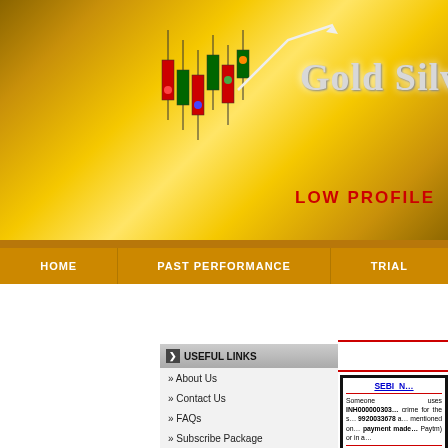[Figure (screenshot): Gold Silver Alerts website header banner with golden gradient background, candlestick chart graphic, and site logo text 'Gold Silver Ale...' with tagline 'LOW PROFILE HIGH RES...']
HOME | PAST PERFORMANCE | TRIAL
USEFUL LINKS
» About Us
» Contact Us
» FAQs
» Subscribe Package
» Register
» Login
» Rules
WEBSITE LINKS
» Calls
» Past Performance
» Profit Calculator
SEBI ... Someone uses INH000000303 crime for the sale 9920033678 a mentioned on payment made Paytm) or in a
* Comm...